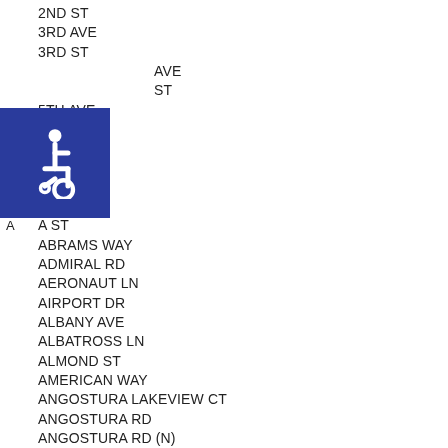2ND ST
3RD AVE
3RD ST
AVE
ST
5TH AVE
5TH ST
6TH AVE
7TH AVE
8TH AVE
9TH AVE
A ST
ABRAMS WAY
ADMIRAL RD
AERONAUT LN
AIRPORT DR
ALBANY AVE
ALBATROSS LN
ALMOND ST
AMERICAN WAY
ANGOSTURA LAKEVIEW CT
ANGOSTURA RD
ANGOSTURA RD (N)
[Figure (infographic): Blue square with white wheelchair accessibility icon]